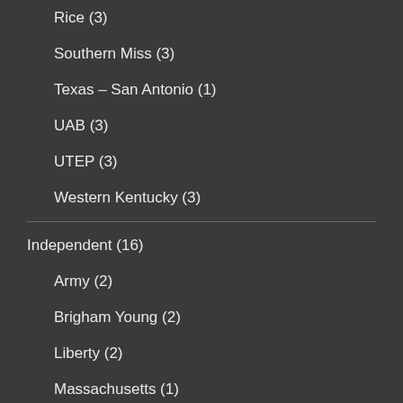Rice (3)
Southern Miss (3)
Texas – San Antonio (1)
UAB (3)
UTEP (3)
Western Kentucky (3)
Independent (16)
Army (2)
Brigham Young (2)
Liberty (2)
Massachusetts (1)
New Mexico State (2)